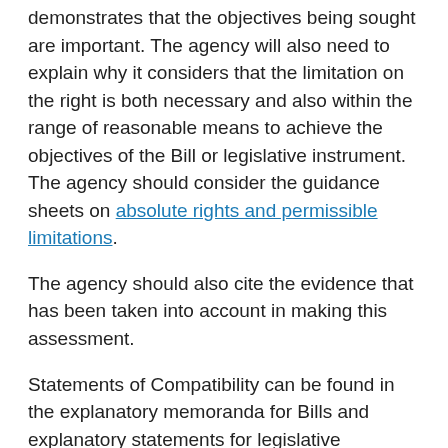demonstrates that the objectives being sought are important. The agency will also need to explain why it considers that the limitation on the right is both necessary and also within the range of reasonable means to achieve the objectives of the Bill or legislative instrument. The agency should consider the guidance sheets on absolute rights and permissible limitations.
The agency should also cite the evidence that has been taken into account in making this assessment.
Statements of Compatibility can be found in the explanatory memoranda for Bills and explanatory statements for legislative instruments. The following links to explanatory materials are provided for illustrative purposes only:
Crimes Legislation Amendment (Law Enforcement Integrity, Vulnerable Witness Protection and Other